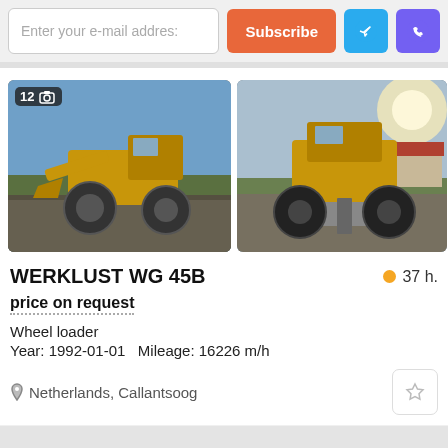Enter your e-mail address | Subscribe
[Figure (photo): Wheel loader WERKLUST WG 45B - front-side view on tarmac with blue sky background, photo count badge showing 12]
[Figure (photo): Wheel loader WERKLUST WG 45B - rear view on road with buildings and blue sky background]
WERKLUST WG 45B
37 h.
price on request
Wheel loader
Year: 1992-01-01   Mileage: 16226 m/h
Netherlands, Callantsoog